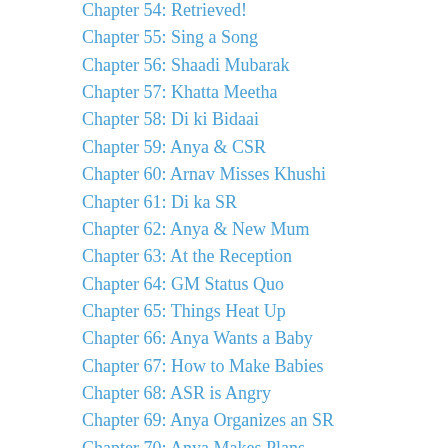Chapter 54: Retrieved!
Chapter 55: Sing a Song
Chapter 56: Shaadi Mubarak
Chapter 57: Khatta Meetha
Chapter 58: Di ki Bidaai
Chapter 59: Anya & CSR
Chapter 60: Arnav Misses Khushi
Chapter 61: Di ka SR
Chapter 62: Anya & New Mum
Chapter 63: At the Reception
Chapter 64: GM Status Quo
Chapter 65: Things Heat Up
Chapter 66: Anya Wants a Baby
Chapter 67: How to Make Babies
Chapter 68: ASR is Angry
Chapter 69: Anya Organizes an SR
Chapter 70: Anya Makes Plans
Chapter 71: Anya at RM
Chapter 72: All at RM
Chapter 73: Anya & Nani